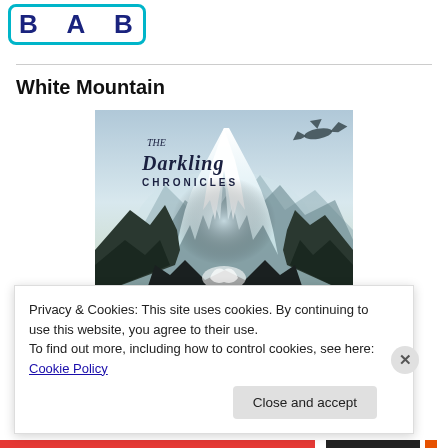[Figure (logo): Logo with bold dark blue letters in a teal/cyan rounded rectangle border]
White Mountain
[Figure (illustration): Book cover for 'The Darkling Chronicles' showing a glowing white mountain peak in a misty fantasy landscape with a flying dragon, dark rocky foreground, and the book title in stylized script at the top left. A glowing white figure/creature is at the bottom.]
Privacy & Cookies: This site uses cookies. By continuing to use this website, you agree to their use.
To find out more, including how to control cookies, see here: Cookie Policy
Close and accept